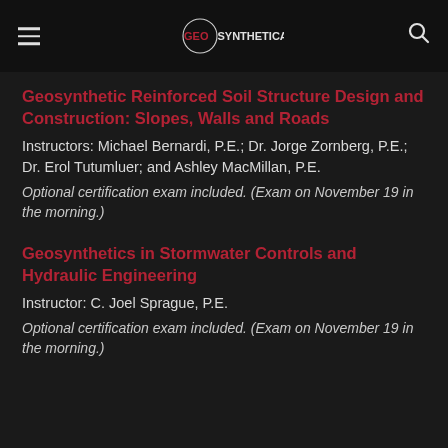GEOSYNTHETICA
Geosynthetic Reinforced Soil Structure Design and Construction: Slopes, Walls and Roads
Instructors: Michael Bernardi, P.E.; Dr. Jorge Zornberg, P.E.; Dr. Erol Tutumluer; and Ashley MacMillan, P.E.
Optional certification exam included. (Exam on November 19 in the morning.)
Geosynthetics in Stormwater Controls and Hydraulic Engineering
Instructor: C. Joel Sprague, P.E.
Optional certification exam included. (Exam on November 19 in the morning.)